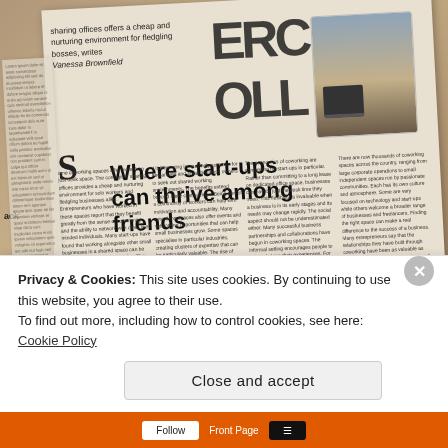[Figure (photo): A photograph of a newspaper page angled/rotated on a wooden surface. The newspaper shows an article with the headline 'Where start-ups can thrive among friends', a drop capital 'S', a photo of a woman smiling, large bold letters at the top, and dense multi-column body text. A circular badge showing '98' is visible in the bottom right corner. The top of the article reads: 'sharing offices offers a cheap and nurturing environment for fledgling bosses, writes Vanessa Brownfield'.]
Privacy & Cookies: This site uses cookies. By continuing to use this website, you agree to their use.
To find out more, including how to control cookies, see here: Cookie Policy
Close and accept